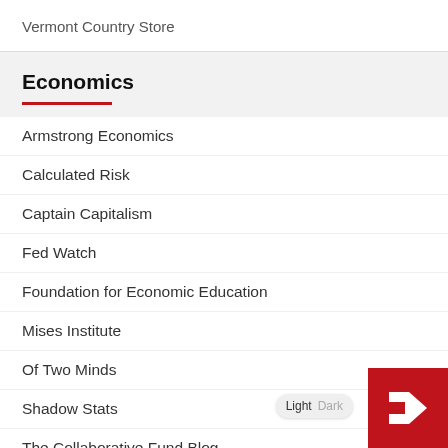Vermont Country Store
Economics
Armstrong Economics
Calculated Risk
Captain Capitalism
Fed Watch
Foundation for Economic Education
Mises Institute
Of Two Minds
Shadow Stats
The Collaborative Fund Blog